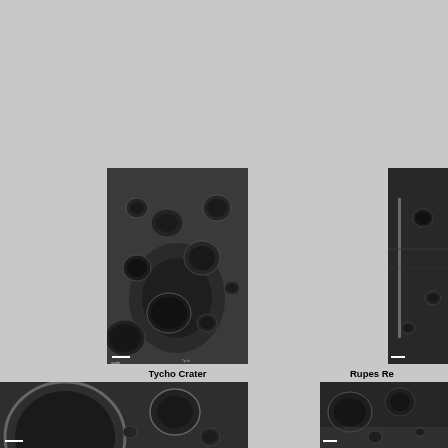[Figure (photo): Telescopic photograph of Tycho Crater on the Moon, showing a large impact crater with surrounding lunar terrain, craters, and surface detail. Image appears in grayscale.]
Tycho Crater
Diameter = 102 km
[Figure (photo): Partial telescopic photograph of Rupes Recta (the Straight Wall) on the Moon, a linear fault/scarp feature on the lunar surface, partially cropped at right edge.]
Rupes Re...
[Figure (photo): Telescopic photograph of lunar surface showing a large crater in the lower left with smaller craters nearby, in grayscale. Partially cropped at bottom.]
[Figure (photo): Telescopic photograph of lunar surface showing craters and rough terrain, in grayscale. Partially cropped at bottom and right.]